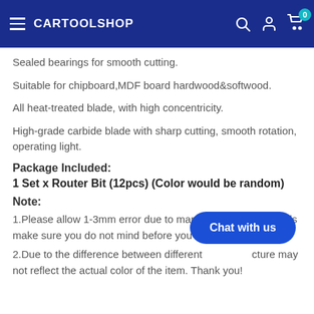CARTOOLSHOP
Sealed bearings for smooth cutting.
Suitable for chipboard,MDF board hardwood&softwood.
All heat-treated blade, with high concentricity.
High-grade carbide blade with sharp cutting, smooth rotation, operating light.
Package Included:
1 Set x Router Bit (12pcs) (Color would be random)
Note:
1.Please allow 1-3mm error due to manual measurement. pls make sure you do not mind before you bi...
2.Due to the difference between different [monitor] picture may not reflect the actual color of the item. Thank you!